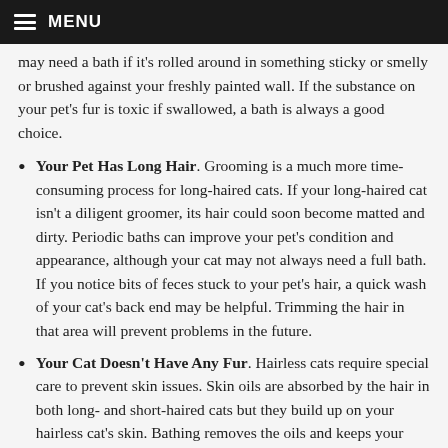MENU
may need a bath if it's rolled around in something sticky or smelly or brushed against your freshly painted wall. If the substance on your pet's fur is toxic if swallowed, a bath is always a good choice.
Your Pet Has Long Hair. Grooming is a much more time-consuming process for long-haired cats. If your long-haired cat isn't a diligent groomer, its hair could soon become matted and dirty. Periodic baths can improve your pet's condition and appearance, although your cat may not always need a full bath. If you notice bits of feces stuck to your pet's hair, a quick wash of your cat's back end may be helpful. Trimming the hair in that area will prevent problems in the future.
Your Cat Doesn't Have Any Fur. Hairless cats require special care to prevent skin issues. Skin oils are absorbed by the hair in both long- and short-haired cats but they build up on your hairless cat's skin. Bathing removes the oils and keeps your cat's skin in good condition. Your hairless cat may need to be bathed one or two times a week depending on how quickly oil builds up. In between...